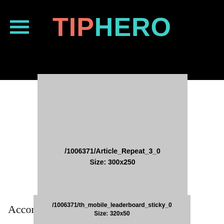TIPHERO
[Figure (other): Advertisement placeholder: /1006371/Article_Repeat_3_0 Size: 300x250]
[Figure (other): Advertisement placeholder: /1006371/th_mobile_leaderboard_sticky_0 Size: 320x50]
Accor